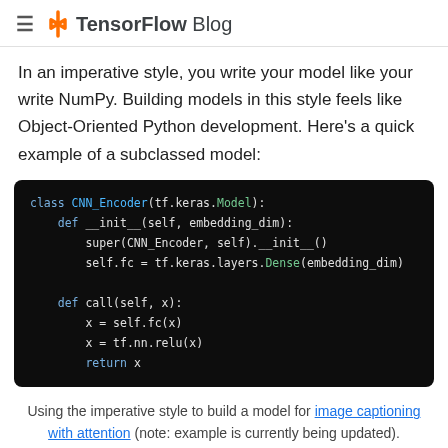TensorFlow Blog
In an imperative style, you write your model like your write NumPy. Building models in this style feels like Object-Oriented Python development. Here’s a quick example of a subclassed model:
[Figure (screenshot): Code block showing a Python class CNN_Encoder extending tf.keras.Model with __init__ and call methods using tf.keras.layers.Dense and tf.nn.relu]
Using the imperative style to build a model for image captioning with attention (note: example is currently being updated).
From a developer perspective, the way this works is you